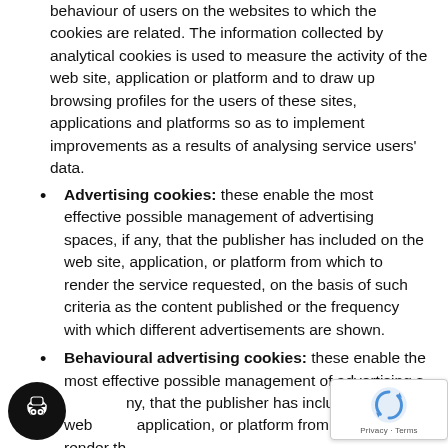behaviour of users on the websites to which the cookies are related. The information collected by analytical cookies is used to measure the activity of the web site, application or platform and to draw up browsing profiles for the users of these sites, applications and platforms so as to implement improvements as a results of analysing service users' data.
Advertising cookies: these enable the most effective possible management of advertising spaces, if any, that the publisher has included on the web site, application, or platform from which to render the service requested, on the basis of such criteria as the content published or the frequency with which different advertisements are shown.
Behavioural advertising cookies: these enable the most effective possible management of advertising spaces, if any, that the publisher has included on the web application, or platform from which to render the